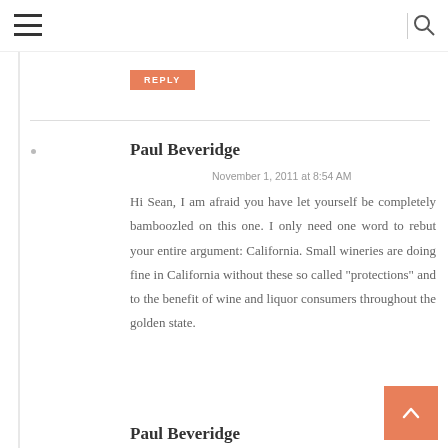REPLY
Paul Beveridge
November 1, 2011 at 8:54 AM
Hi Sean, I am afraid you have let yourself be completely bamboozled on this one. I only need one word to rebut your entire argument: California. Small wineries are doing fine in California without these so called "protections" and to the benefit of wine and liquor consumers throughout the golden state.
Paul Beveridge